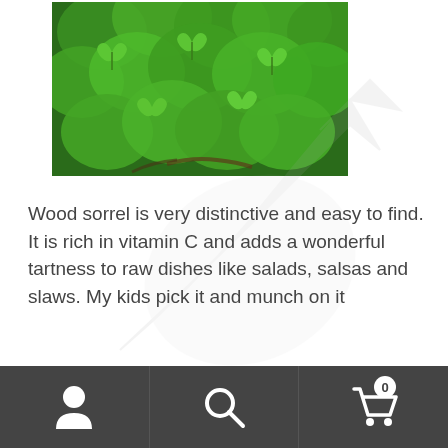[Figure (photo): Close-up photo of wood sorrel plant with bright green clover-like leaves filling the frame]
[Figure (other): Large semi-transparent watermark arrow pointing upper-right on white background]
Wood sorrel is very distinctive and easy to find. It is rich in vitamin C and adds a wonderful tartness to raw dishes like salads, salsas and slaws. My kids pick it and munch on it
By using this site you accept our robot overlords are watching you. :) Many water products are out of stock. We are waiting for parts. Dismiss